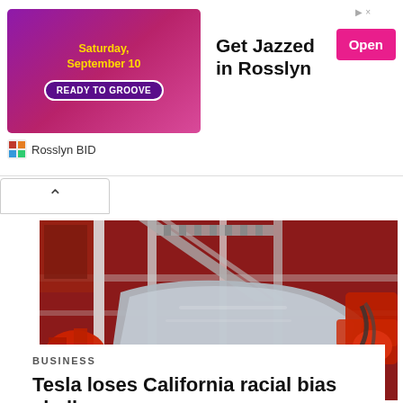[Figure (screenshot): Advertisement banner for 'Get Jazzed in Rosslyn' event on Saturday September 10 with Open button, sponsored by Rosslyn BID]
[Figure (photo): Tesla car body frame on automated assembly line with red robotic arms in factory]
BUSINESS
Tesla loses California racial bias challenge